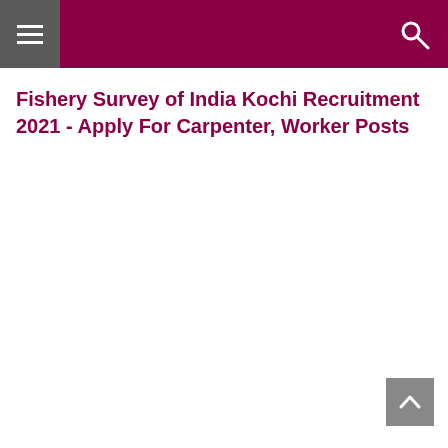Fishery Survey of India Kochi Recruitment 2021 - Apply For Carpenter, Worker Posts
Fishery Survey of India Kochi Recruitment 2021 - Apply For Carpenter, Worker Posts